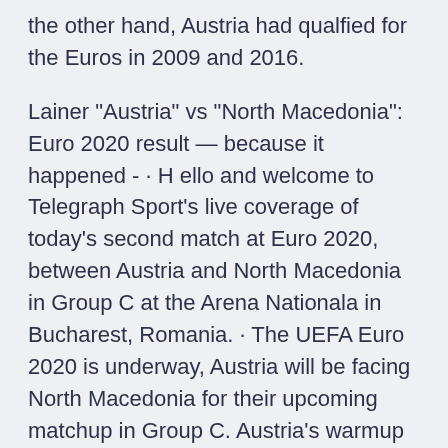the other hand, Austria had qualfied for the Euros in 2009 and 2016.
Lainer "Austria" vs "North Macedonia": Euro 2020 result — because it happened - · H ello and welcome to Telegraph Sport's live coverage of today's second match at Euro 2020, between Austria and North Macedonia in Group C at the Arena Nationala in Bucharest, Romania. · The UEFA Euro 2020 is underway, Austria will be facing North Macedonia for their upcoming matchup in Group C. Austria's warmup match against Slovakia ended up in a slightly disappointing 0-0 draw at home, however, coach Franco Foda is confident they are ready for their opener. Austria have won only Jun 13, 2021 · Austria has a flawless record against North Macedonia and have won both the games played between the two teams.